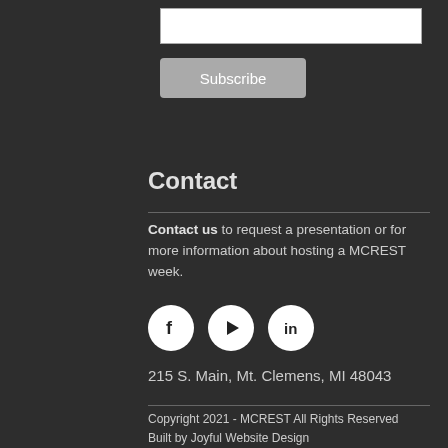[input box]
Subscribe
Contact
Contact us to request a presentation or for more information about hosting a MCREST week.
[Figure (illustration): Three social media icons in white circles on dark background: Facebook (f), YouTube (play button), LinkedIn (in)]
215 S. Main, Mt. Clemens, MI 48043
Copyright 2021 - MCREST All Rights Reserved
Built by Joyful Website Design